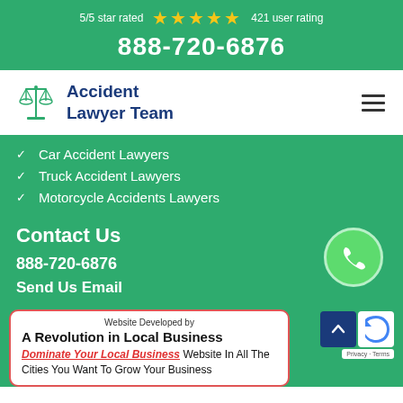5/5 star rated ★★★★★ 421 user rating
888-720-6876
[Figure (logo): Accident Lawyer Team logo with scales of justice icon]
Car Accident Lawyers
Truck Accident Lawyers
Motorcycle Accidents Lawyers
Contact Us
888-720-6876
Send Us Email
[Figure (illustration): Green circle phone icon button]
Website Developed by
A Revolution in Local Business
Dominate Your Local Business Website In All The Cities You Want To Grow Your Business